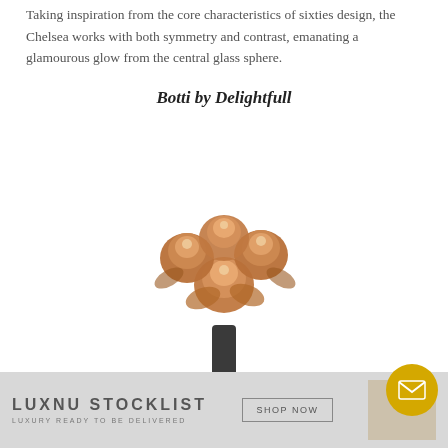Taking inspiration from the core characteristics of sixties design, the Chelsea works with both symmetry and contrast, emanating a glamourous glow from the central glass sphere.
Botti by Delightfull
[Figure (photo): A decorative lamp or lighting fixture with rose-gold floral/bell-shaped shades arranged in a cluster on a dark stem, photographed on white background.]
LUXNU STOCKLIST  LUXURY READY TO BE DELIVERED  SHOP NOW